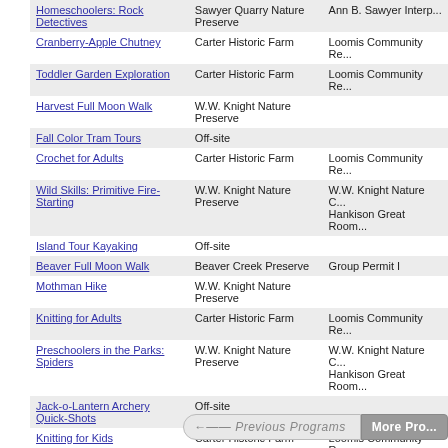| Program | Location | Room |
| --- | --- | --- |
| Homeschoolers: Rock Detectives | Sawyer Quarry Nature Preserve | Ann B. Sawyer Interpr... |
| Cranberry-Apple Chutney | Carter Historic Farm | Loomis Community Re... |
| Toddler Garden Exploration | Carter Historic Farm | Loomis Community Re... |
| Harvest Full Moon Walk | W.W. Knight Nature Preserve |  |
| Fall Color Tram Tours | Off-site |  |
| Crochet for Adults | Carter Historic Farm | Loomis Community Re... |
| Wild Skills: Primitive Fire-Starting | W.W. Knight Nature Preserve | W.W. Knight Nature C... Hankison Great Room... |
| Island Tour Kayaking | Off-site |  |
| Beaver Full Moon Walk | Beaver Creek Preserve | Group Permit I |
| Mothman Hike | W.W. Knight Nature Preserve |  |
| Knitting for Adults | Carter Historic Farm | Loomis Community Re... |
| Preschoolers in the Parks: Spiders | W.W. Knight Nature Preserve | W.W. Knight Nature C... Hankison Great Room... |
| Jack-o-Lantern Archery Quick-Shots | Off-site |  |
| Knitting for Kids | Carter Historic Farm | Loomis Community Re... |
| Hiking for Health | W.W. Knight Nature Preserve |  |
| Homeschoolers: Aquatic Adventures | William Henry Harrison Park | Group Permit |
| Preschoolers in the Parks: Leaves and Trees | W.W. Knight Nature Preserve | W.W. Knight Nature C... Hankison Great Room... |
| Garlic | Carter Historic Farm | Loomis Community Re... |
| Sunset Top-Rope Climbing | Sawyer Quarry Nature Preserve | Group Permit |